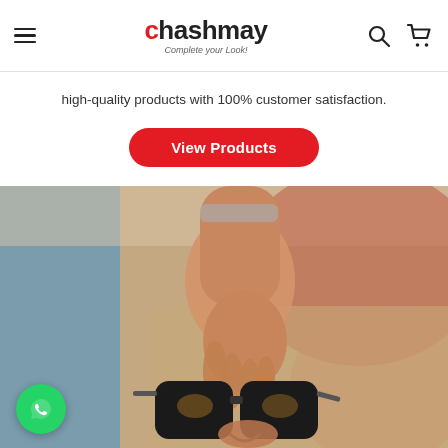chashmay — Complete your Look! [hamburger menu, search icon, cart icon]
high-quality products with 100% customer satisfaction.
View Products
[Figure (photo): A hand holding a pair of black wayfarer-style sunglasses. The person is wearing a blue denim jacket and a watch. Background is blurred with warm red and beige tones.]
[Figure (logo): WhatsApp floating button (green circle with phone icon)]